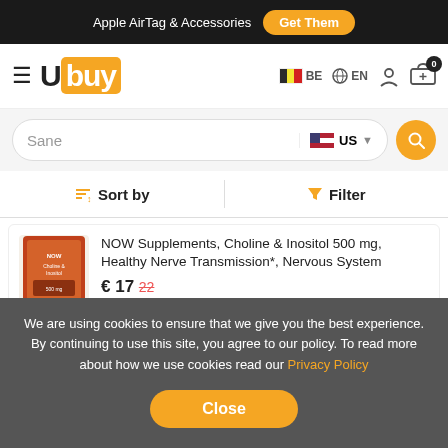Apple AirTag & Accessories  Get Them
[Figure (logo): Ubuy logo with hamburger menu, BE flag, EN language, account and cart icons]
Sane
Sort by  Filter
[Figure (photo): NOW Supplements Choline & Inositol product image]
NOW Supplements, Choline & Inositol 500 mg, Healthy Nerve Transmission*, Nervous System
€ 17  22
Best Seller  US Store
We are using cookies to ensure that we give you the best experience. By continuing to use this site, you agree to our policy. To read more about how we use cookies read our Privacy Policy
Close